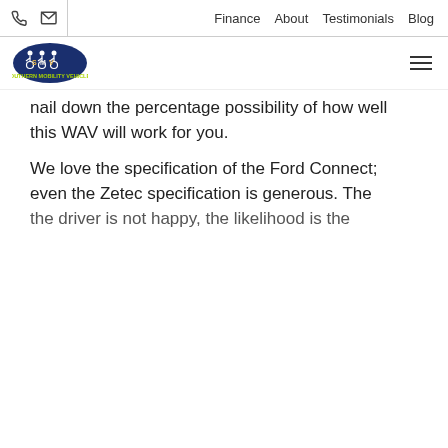Finance  About  Testimonials  Blog
[Figure (logo): Southern Mobility Vehicles logo - oval dark blue badge with wheelchair user icons and SMV text]
nail down the percentage possibility of how well this WAV will work for you.
We love the specification of the Ford Connect; even the Zetec specification is generous. The Titanium specification with its panoramic roof
ght in the nition on this when you ked hard to e well n second always sa
We use cookies on our website to analyse our traffic and share information about your use of the website with our analytic partners.
Accept  Privacy policy
the driver is not happy, the likelihood is the